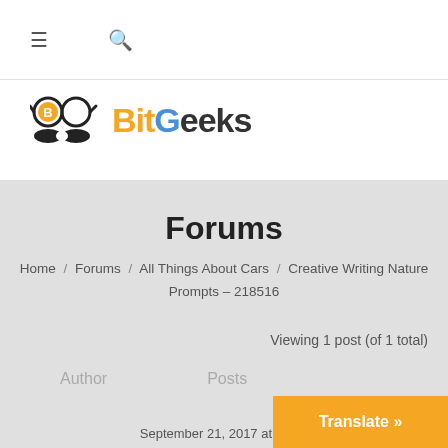≡  🔍
[Figure (logo): BitGeeks logo with stylized glasses and mustache icon, and BitGeeks text in orange/blue/dark color]
Forums
Home / Forums / All Things About Cars / Creative Writing Nature Prompts – 218516
Viewing 1 post (of 1 total)
Author    Posts
September 21, 2017 at 11:26
Translate »